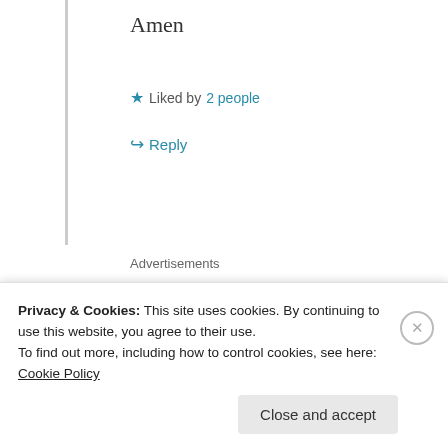Amen
★ Liked by 2 people
↪ Reply
Advertisements
🦋🦅🦋bflyjesusgrl🦋🦅🦋
09/03/2021 @ 20:28 at 20:28
Privacy & Cookies: This site uses cookies. By continuing to use this website, you agree to their use.
To find out more, including how to control cookies, see here: Cookie Policy
Close and accept